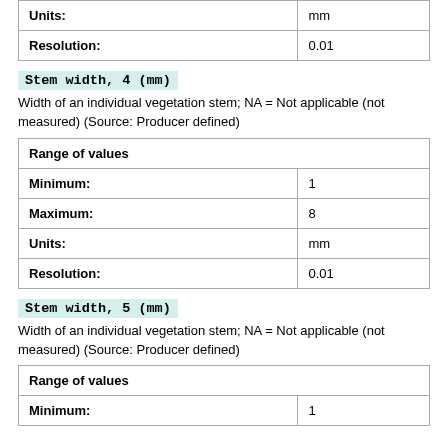| Units: | mm |
| Resolution: | 0.01 |
Stem width, 4 (mm)
Width of an individual vegetation stem; NA = Not applicable (not measured) (Source: Producer defined)
| Range of values |  |
| --- | --- |
| Minimum: | 1 |
| Maximum: | 8 |
| Units: | mm |
| Resolution: | 0.01 |
Stem width, 5 (mm)
Width of an individual vegetation stem; NA = Not applicable (not measured) (Source: Producer defined)
| Range of values |  |
| --- | --- |
| Minimum: | 1 |